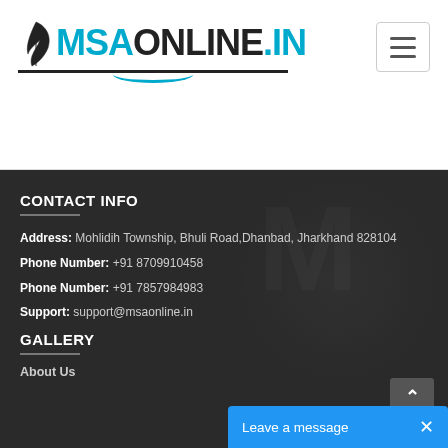[Figure (logo): MSAOnline.in logo with feather icon, cyan and black text, underline decoration]
CONTACT INFO
Address: Mohlidih Township, Bhuli Road,Dhanbad, Jharkhand 828104
Phone Number: +91 8709910458
Phone Number: +91 7857984983
Support: support@msaonline.in
GALLERY
About Us
Leave a message